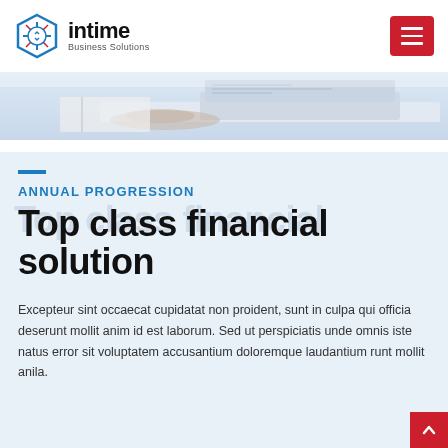[Figure (logo): Intime Business Solutions logo with hexagonal icon and text]
[Figure (photo): Hero image strip showing a laptop on a desk, top portion cropped]
ANNUAL PROGRESSION
Top class financial solution
Excepteur sint occaecat cupidatat non proident, sunt in culpa qui officia deserunt mollit anim id est laborum. Sed ut perspiciatis unde omnis iste natus error sit voluptatem accusantium doloremque laudantium runt mollit anila.